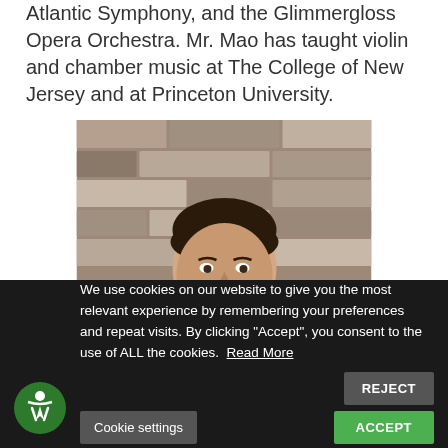Atlantic Symphony, and the Glimmergloss Opera Orchestra. Mr. Mao has taught violin and chamber music at The College of New Jersey and at Princeton University.
[Figure (photo): Headshot of a young man in a dark blazer, standing in front of a stone wall background.]
We use cookies on our website to give you the most relevant experience by remembering your preferences and repeat visits. By clicking "Accept", you consent to the use of ALL the cookies. Read More
Cookie settings | ACCEPT | REJECT